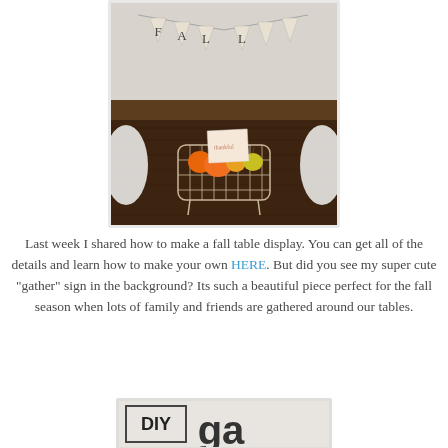[Figure (photo): Photo of a fall table display with a wire basket containing small pumpkins and a 'thankful' sign, with a 'FALL' bunting banner hanging in the background above a dark wooden table with white chairs.]
Last week I shared how to make a fall table display. You can get all of the details and learn how to make your own HERE. But did you see my super cute "gather" sign in the background? Its such a beautiful piece perfect for the fall season when lots of family and friends are gathered around our tables.
[Figure (photo): Partial photo of a DIY sign with text 'DIY' visible and decorative letters partially shown.]